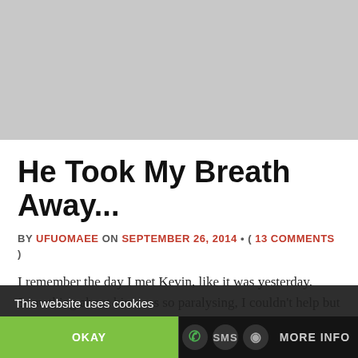[Figure (other): Gray advertisement banner placeholder at top of page]
He Took My Breath Away...
BY UFUOMAEE ON SEPTEMBER 26, 2014 • ( 13 COMMENTS )
I remember the day I met Kevin, like it was yesterday.  Something about him was so paralysing, I couldn't help but stare!  Yes, he was gorgeous, but more than that, he oozed charisma.  He smiled at me, as he noticed my intense gaze, and I gasped.  He
This website uses cookies
OKAY
MORE INFO